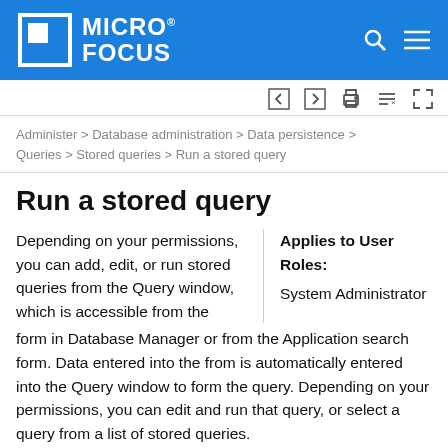MICRO FOCUS®
Administer > Database administration > Data persistence > Queries > Stored queries > Run a stored query
Run a stored query
Depending on your permissions, you can add, edit, or run stored queries from the Query window, which is accessible from the form in Database Manager or from the Application search form. Data entered into the from is automatically entered into the Query window to form the query. Depending on your permissions, you can edit and run that query, or select a query from a list of stored queries.
Applies to User Roles:
System Administrator